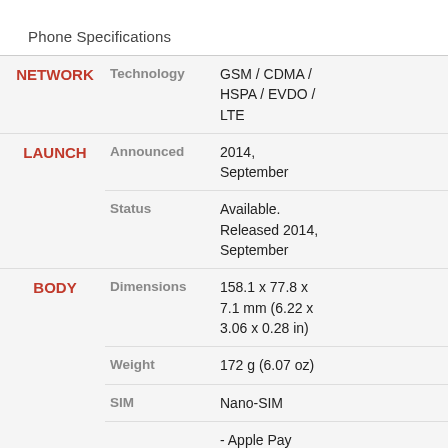Phone Specifications
|  | Feature | Value |
| --- | --- | --- |
| NETWORK | Technology | GSM / CDMA / HSPA / EVDO / LTE |
| LAUNCH | Announced | 2014, September |
|  | Status | Available. Released 2014, September |
| BODY | Dimensions | 158.1 x 77.8 x 7.1 mm (6.22 x 3.06 x 0.28 in) |
|  | Weight | 172 g (6.07 oz) |
|  | SIM | Nano-SIM |
|  |  | - Apple Pay (Visa, MasterCard, AMEX certified) |
| DISPLAY | Type | LED-backlit IPS LCD, capacitive touchscreen, |